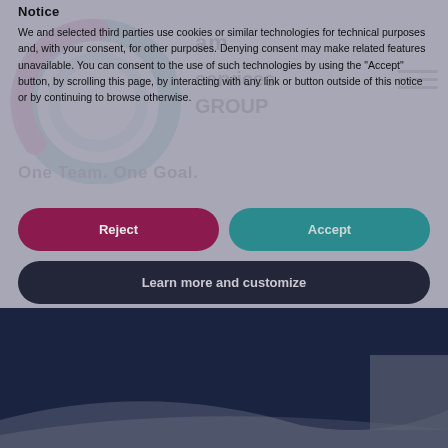[Figure (screenshot): Website background showing AM Services Group logo with circular teal/pink swirl graphic, navigation hamburger menu, and tagline 'One Team. One Goal.' on white background]
Notice
We and selected third parties use cookies or similar technologies for technical purposes and, with your consent, for other purposes. Denying consent may make related features unavailable. You can consent to the use of such technologies by using the "Accept" button, by scrolling this page, by interacting with any link or button outside of this notice or by continuing to browse otherwise.
Reject
Accept
Learn more and customize